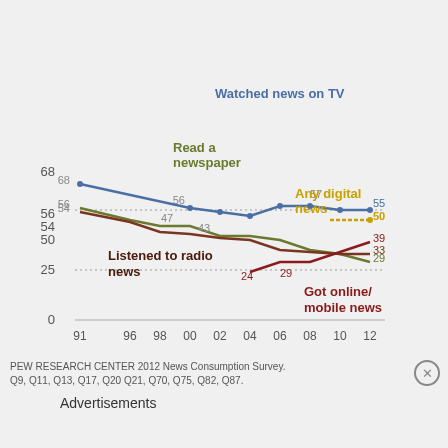[Figure (line-chart): News consumption by platform]
PEW RESEARCH CENTER 2012 News Consumption Survey. Q9, Q11, Q13, Q17, Q20 Q21, Q70, Q75, Q82, Q87.
Advertisements